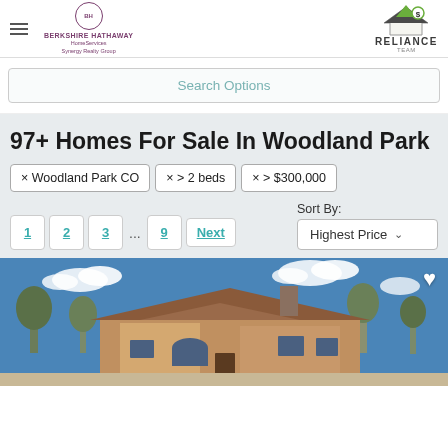BERKSHIRE HATHAWAY HomeServices Synergy Realty Group | The Reliance Team
Search Options
97+ Homes For Sale In Woodland Park
× Woodland Park CO    × > 2 beds    × > $300,000
1  2  3  ...  9  Next    Sort By: Highest Price
[Figure (photo): Exterior photo of a large Southwestern-style home with adobe/stucco walls, tile roof, and arched windows, set against a blue sky with clouds and surrounded by trees.]